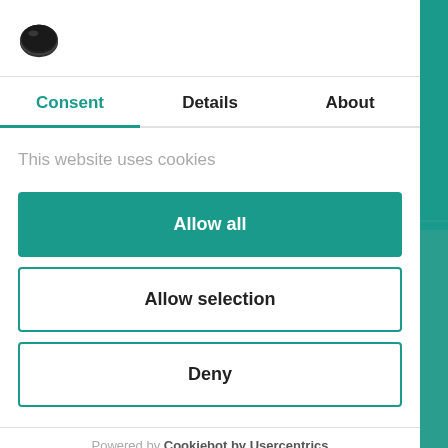[Figure (logo): Cookiebot cookie consent logo icon - a stylized cookie/disc shape]
Consent
Details
About
This website uses cookies
Allow all
Allow selection
Deny
Powered by Cookiebot by Usercentrics